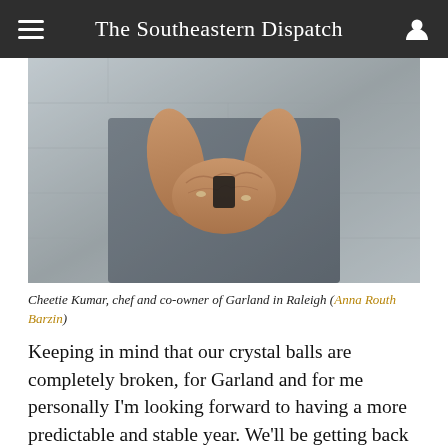The Southeastern Dispatch
[Figure (photo): Close-up photo of a person's hands clasped together, wearing a grey apron, with a blurred stone wall background. Rings visible on fingers.]
Cheetie Kumar, chef and co-owner of Garland in Raleigh (Anna Routh Barzin)
Keeping in mind that our crystal balls are completely broken, for Garland and for me personally I'm looking forward to having a more predictable and stable year. We'll be getting back to doing what we love to do, which is feed people, welcome them, and make them feel connected to the best parts of their life and the community in